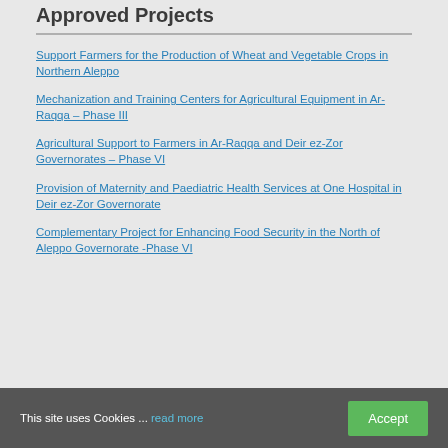Approved Projects
Support Farmers for the Production of Wheat and Vegetable Crops in Northern Aleppo
Mechanization and Training Centers for Agricultural Equipment in Ar-Raqqa – Phase III
Agricultural Support to Farmers in Ar-Raqqa and Deir ez-Zor Governorates – Phase VI
Provision of Maternity and Paediatric Health Services at One Hospital in Deir ez-Zor Governorate
Complementary Project for Enhancing Food Security in the North of Aleppo Governorate -Phase VI
This site uses Cookies ... read more  Accept